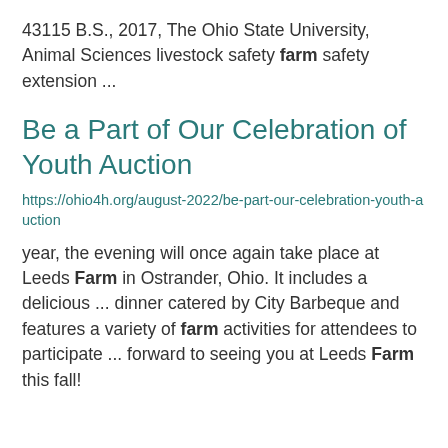43115 B.S., 2017, The Ohio State University, Animal Sciences livestock safety farm safety extension ...
Be a Part of Our Celebration of Youth Auction
https://ohio4h.org/august-2022/be-part-our-celebration-youth-auction
year, the evening will once again take place at Leeds Farm in Ostrander, Ohio. It includes a delicious ... dinner catered by City Barbeque and features a variety of farm activities for attendees to participate ... forward to seeing you at Leeds Farm this fall!